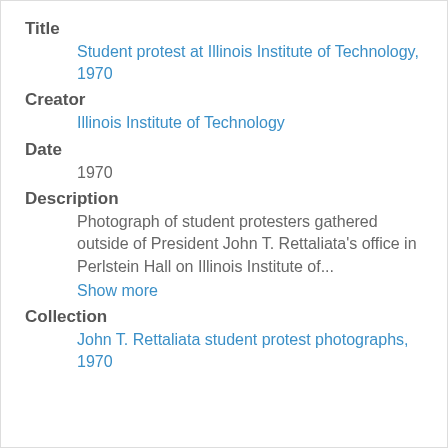Title
Student protest at Illinois Institute of Technology, 1970
Creator
Illinois Institute of Technology
Date
1970
Description
Photograph of student protesters gathered outside of President John T. Rettaliata's office in Perlstein Hall on Illinois Institute of...
Show more
Collection
John T. Rettaliata student protest photographs, 1970